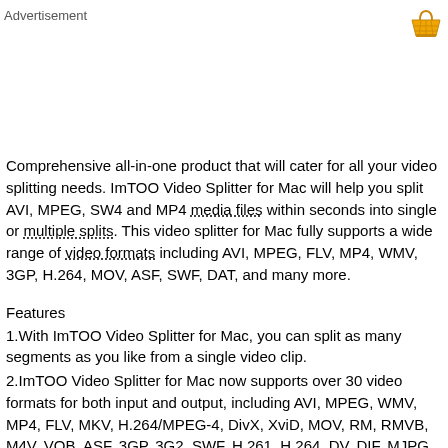Advertisement
[Figure (illustration): Shopping basket / cart icon in yellow/gold color, top right corner]
Comprehensive all-in-one product that will cater for all your video splitting needs. ImTOO Video Splitter for Mac will help you split AVI, MPEG, SW4 and MP4 media files within seconds into single or multiple splits. This video splitter for Mac fully supports a wide range of video formats including AVI, MPEG, FLV, MP4, WMV, 3GP, H.264, MOV, ASF, SWF, DAT, and many more.
Features
1.With ImTOO Video Splitter for Mac, you can split as many segments as you like from a single video clip.
2.ImTOO Video Splitter for Mac now supports over 30 video formats for both input and output, including AVI, MPEG, WMV, MP4, FLV, MKV, H.264/MPEG-4, DivX, XviD, MOV, RM, RMVB, M4V, VOB, ASF, 3GP, 3G2, SWF, H.261, H.264, DV, DIF, MJPG, MJPEG, DVR-